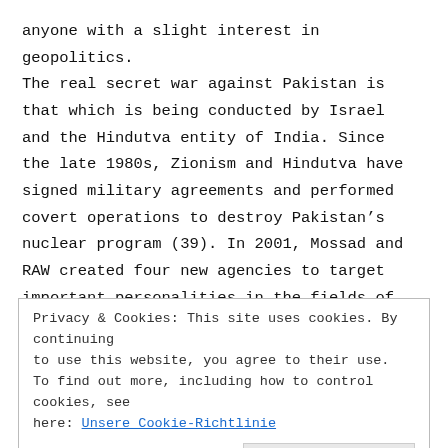anyone with a slight interest in geopolitics. The real secret war against Pakistan is that which is being conducted by Israel and the Hindutva entity of India. Since the late 1980s, Zionism and Hindutva have signed military agreements and performed covert operations to destroy Pakistan’s nuclear program (39). In 2001, Mossad and RAW created four new agencies to target important personalities in the fields of
Privacy & Cookies: This site uses cookies. By continuing to use this website, you agree to their use. To find out more, including how to control cookies, see here: Unsere Cookie-Richtlinie
hired mercenaries, druglords and mafia